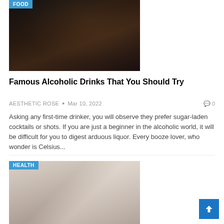[Figure (photo): Woman at a bar holding a wine glass, dark background with liquor bottles on shelves, with FOOD category badge]
Famous Alcoholic Drinks That You Should Try
AESTHETIC ROSE • Mar 10, 2022   0
Asking any first-time drinker, you will observe they prefer sugar-laden cocktails or shots. If you are just a beginner in the alcoholic world, it will be difficult for you to digest arduous liquor. Every booze lover, who wonder is Celsius...
[Figure (photo): Person doing push-ups near a sofa with dumbbells on the floor, with HEALTH category badge]